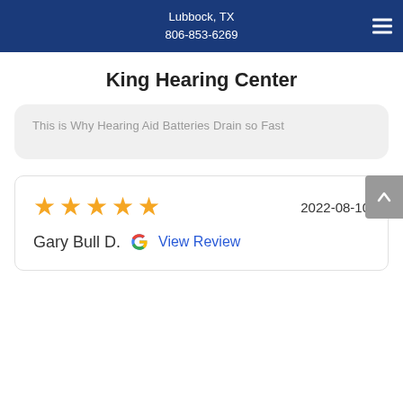Lubbock, TX
806-853-6269
King Hearing Center
This is Why Hearing Aid Batteries Drain so Fast
★★★★★  2022-08-10
Gary Bull D.  [Google icon]  View Review